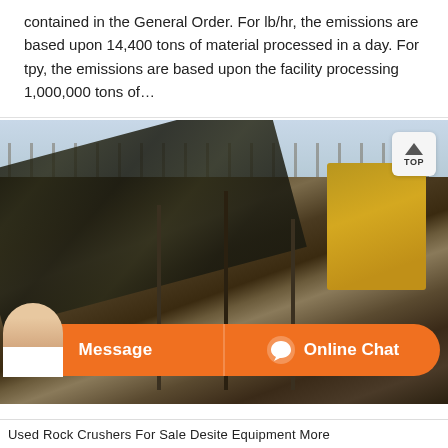contained in the General Order. For lb/hr, the emissions are based upon 14,400 tons of material processed in a day. For tpy, the emissions are based upon the facility processing 1,000,000 tons of…
[Figure (photo): Photograph of used rock crushing industrial equipment and conveyor belts at an outdoor facility. Heavy rusty machinery with structural supports and a yellow vehicle/loader visible. Bare trees in background. Orange Message/Online Chat overlay bar at bottom with a customer service agent photo.]
Used Rock Crushers For Sale Desite Equipment More